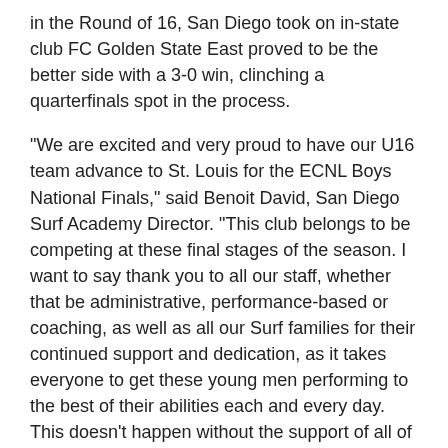in the Round of 16, San Diego took on in-state club FC Golden State East proved to be the better side with a 3-0 win, clinching a quarterfinals spot in the process.
"We are excited and very proud to have our U16 team advance to St. Louis for the ECNL Boys National Finals," said Benoit David, San Diego Surf Academy Director. "This club belongs to be competing at these final stages of the season. I want to say thank you to all our staff, whether that be administrative, performance-based or coaching, as well as all our Surf families for their continued support and dedication, as it takes everyone to get these young men performing to the best of their abilities each and every day. This doesn't happen without the support of all of those surrounding the club."
Regular Season: 9-6-3, 1.67 ppg, +6 goal differential